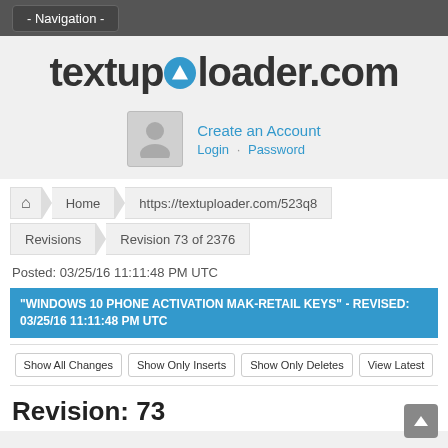- Navigation -
textuploader.com
Create an Account
Login · Password
Home  https://textuploader.com/523q8
Revisions  Revision 73 of 2376
Posted: 03/25/16 11:11:48 PM UTC
"WINDOWS 10 PHONE ACTIVATION MAK-RETAIL KEYS" - REVISED: 03/25/16 11:11:48 PM UTC
Show All Changes  Show Only Inserts  Show Only Deletes  View Latest
Revision: 73